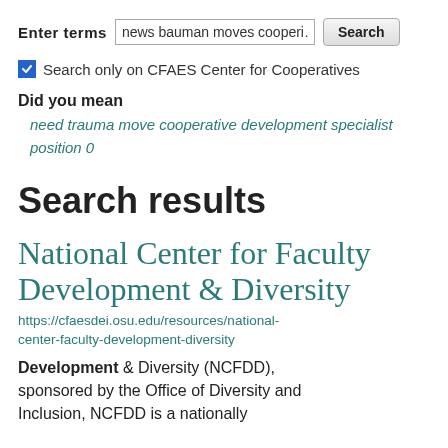Enter terms  news bauman moves cooperi…  Search
Search only on CFAES Center for Cooperatives
Did you mean
need trauma move cooperative development specialist position 0
Search results
National Center for Faculty Development & Diversity
https://cfaesdei.osu.edu/resources/national-center-faculty-development-diversity
Development & Diversity (NCFDD), sponsored by the Office of Diversity and Inclusion, NCFDD is a nationally